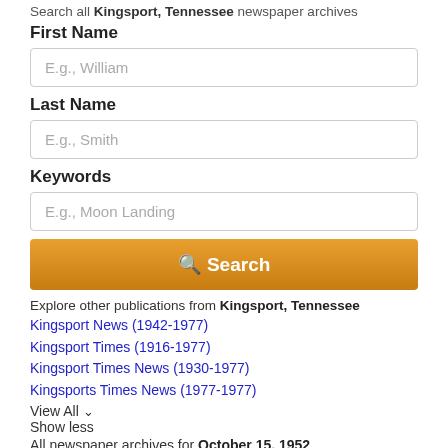Search all Kingsport, Tennessee newspaper archives
First Name
E.g., William
Last Name
E.g., Smith
Keywords
E.g., Moon Landing
Search
Explore other publications from Kingsport, Tennessee
Kingsport News (1942-1977)
Kingsport Times (1916-1977)
Kingsport Times News (1930-1977)
Kingsports Times News (1977-1977)
View All
Show less
All newspaper archives for October 15, 1952
Browse